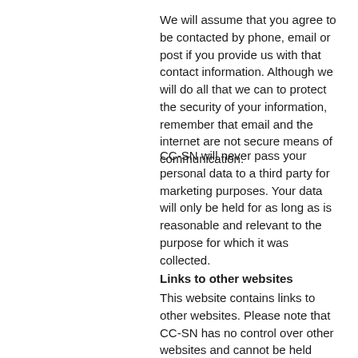We will assume that you agree to be contacted by phone, email or post if you provide us with that contact information. Although we will do all that we can to protect the security of your information, remember that email and the internet are not secure means of communication.
CC-SN will never pass your personal data to a third party for marketing purposes. Your data will only be held for as long as is reasonable and relevant to the purpose for which it was collected.
Links to other websites
This website contains links to other websites. Please note that CC-SN has no control over other websites and cannot be held responsible for the protection and privacy of any information which you provide whilst visiting such sites. Third party websites will not be governed by this privacy policy statement. You should exercise caution and look at the privacy statement applicable to the website in question.
Comments on our blog/news